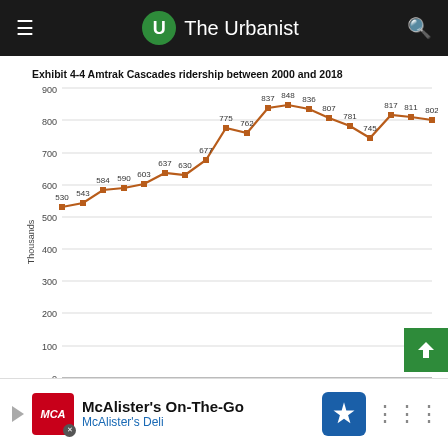The Urbanist
Exhibit 4-4 Amtrak Cascades ridership between 2000 and 2018
[Figure (line-chart): Exhibit 4-4 Amtrak Cascades ridership between 2000 and 2018]
Amtrak Cascades annual ridership from 2000 through 2018. (WSDOT)
Farebox recovery on Amtrak Cascades was increasing steadily until 2018 that was